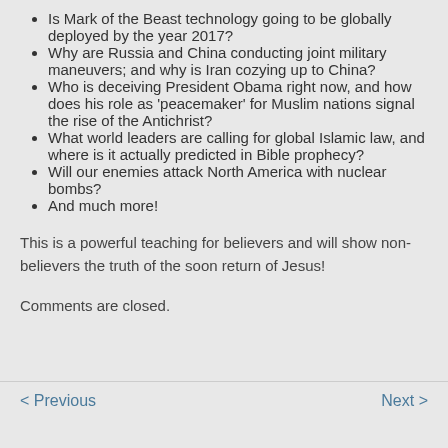Is Mark of the Beast technology going to be globally deployed by the year 2017?
Why are Russia and China conducting joint military maneuvers; and why is Iran cozying up to China?
Who is deceiving President Obama right now, and how does his role as 'peacemaker' for Muslim nations signal the rise of the Antichrist?
What world leaders are calling for global Islamic law, and where is it actually predicted in Bible prophecy?
Will our enemies attack North America with nuclear bombs?
And much more!
This is a powerful teaching for believers and will show non-believers the truth of the soon return of Jesus!
Comments are closed.
< Previous    Next >